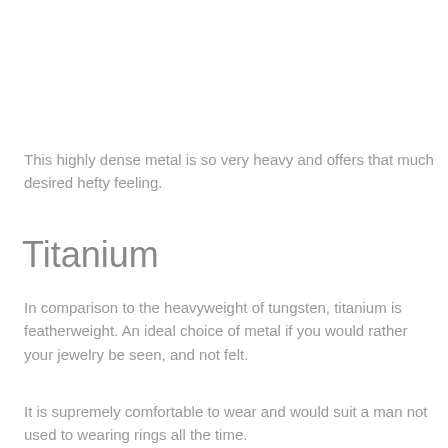This highly dense metal is so very heavy and offers that much desired hefty feeling.
Titanium
In comparison to the heavyweight of tungsten, titanium is featherweight. An ideal choice of metal if you would rather your jewelry be seen, and not felt.
It is supremely comfortable to wear and would suit a man not used to wearing rings all the time.